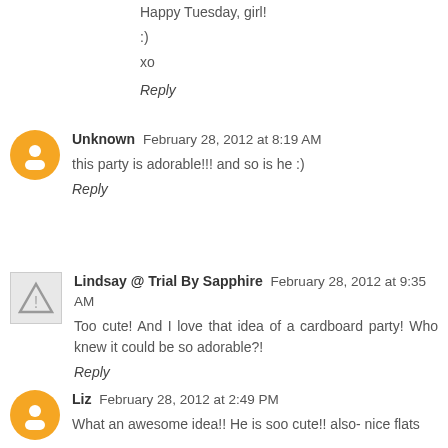Happy Tuesday, girl!
:)
xo
Reply
Unknown  February 28, 2012 at 8:19 AM
this party is adorable!!! and so is he :)
Reply
Lindsay @ Trial By Sapphire  February 28, 2012 at 9:35 AM
Too cute! And I love that idea of a cardboard party! Who knew it could be so adorable?!
Reply
Liz  February 28, 2012 at 2:49 PM
What an awesome idea!! He is soo cute!! also- nice flats